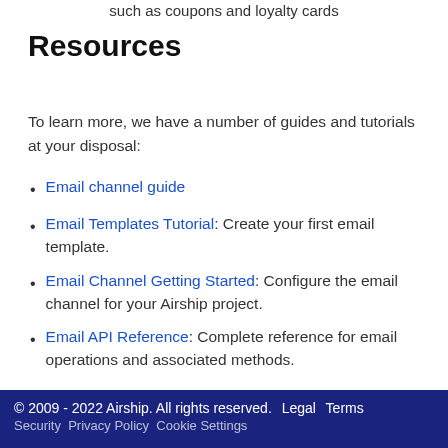such as coupons and loyalty cards
Resources
To learn more, we have a number of guides and tutorials at your disposal:
Email channel guide
Email Templates Tutorial: Create your first email template.
Email Channel Getting Started: Configure the email channel for your Airship project.
Email API Reference: Complete reference for email operations and associated methods.
© 2009 - 2022 Airship. All rights reserved.  Legal  Terms  Security  Privacy Policy  Cookie Settings